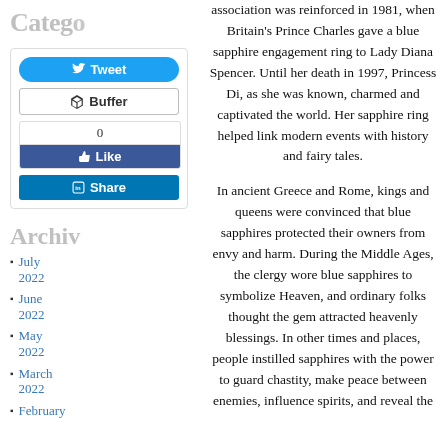Catego
[Figure (screenshot): Social media sharing buttons: Tweet (Twitter), Buffer, Like (Facebook with count 0), Share (LinkedIn)]
Archiv
July 2022
June 2022
May 2022
March 2022
February
association was reinforced in 1981, when Britain's Prince Charles gave a blue sapphire engagement ring to Lady Diana Spencer. Until her death in 1997, Princess Di, as she was known, charmed and captivated the world. Her sapphire ring helped link modern events with history and fairy tales.
In ancient Greece and Rome, kings and queens were convinced that blue sapphires protected their owners from envy and harm. During the Middle Ages, the clergy wore blue sapphires to symbolize Heaven, and ordinary folks thought the gem attracted heavenly blessings. In other times and places, people instilled sapphires with the power to guard chastity, make peace between enemies, influence spirits, and reveal the